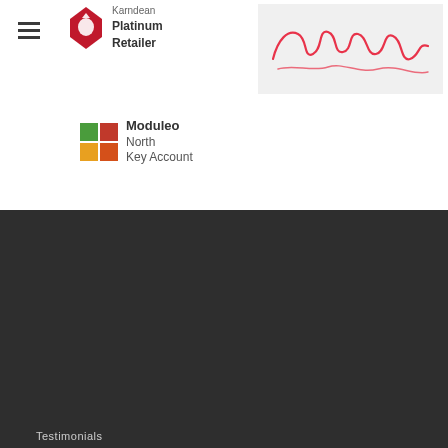[Figure (logo): Karndean Platinum Retailer logo with horse icon and text]
[Figure (logo): Uniquely script handwriting logo in red/pink on light grey background]
[Figure (logo): Moduleo North Key Account logo with coloured grid squares]
Testimonials
What our customers say...
Brilliant. Just had our new bungalow fitted with Karndean Art-select. Looks amazing! Thanks again :)
- Mrs D Meynell, Darras Hall Ponteland